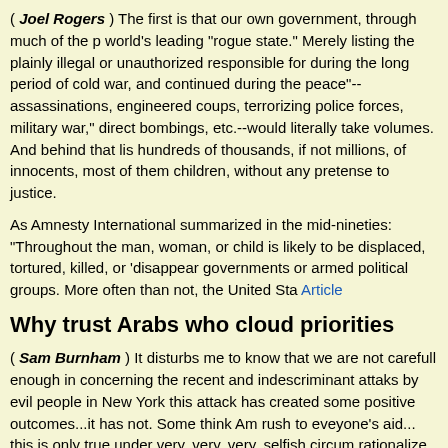( Joel Rogers ) The first is that our own government, through much of the world's leading "rogue state." Merely listing the plainly illegal or unauthorized responsible for during the long period of cold war, and continued during the peace"--assassinations, engineered coups, terrorizing police forces, military war," direct bombings, etc.--would literally take volumes. And behind that list hundreds of thousands, if not millions, of innocents, most of them children, without any pretense to justice.
As Amnesty International summarized in the mid-nineties: "Throughout the man, woman, or child is likely to be displaced, tortured, killed, or 'disappeared governments or armed political groups. More often than not, the United Sta Article
Why trust Arabs who cloud priorities
( Sam Burnham ) It disturbs me to know that we are not carefull enough in concerning the recent and indescriminant attaks by evil people in New York this attack has created some positive outcomes...it has not. Some think Am rush to eveyone's aid... this is only true under very, very, very, selfish circum rationalize the killing of innocent people and equate it to the struggle of bla fighters have nothing in common with these devils, neither would true freed Black people..Where are our priorities??? Full Article
A television show called "Politically Incorrect"
Monday night Bill Maher made a statement that some interpreted as a refer cowards.
Perhaps the...